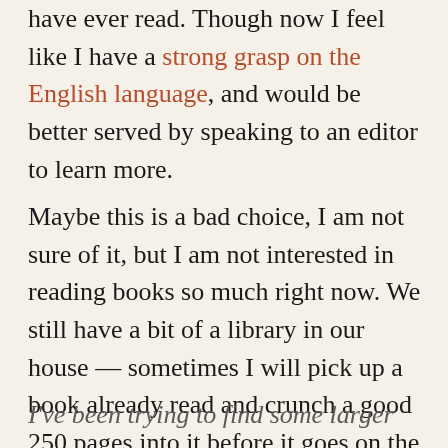have ever read. Though now I feel like I have a strong grasp on the English language, and would be better served by speaking to an editor to learn more.
Maybe this is a bad choice, I am not sure of it, but I am not interested in reading books so much right now. We still have a bit of a library in our house — sometimes I will pick up a book already read and crunch a good 250 pages into it before it goes on the stack next to my side of the bed, almost certain not to be cracked open again.
I've been trying to find some larger